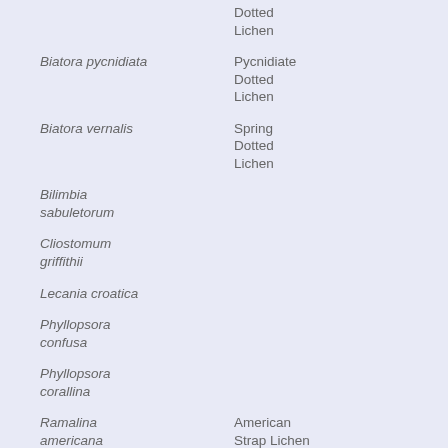| Scientific Name | Common Name |
| --- | --- |
|  | Dotted Lichen |
| Biatora pycnidiata | Pycnidiate Dotted Lichen |
| Biatora vernalis | Spring Dotted Lichen |
| Bilimbia sabuletorum |  |
| Cliostomum griffithii |  |
| Lecania croatica |  |
| Phyllopsora confusa |  |
| Phyllopsora corallina |  |
| Ramalina americana | American Strap Lichen |
| Ramalina culbersoniorum | Culberson's Strap Lichen |
| Ramalina | strap lichen |